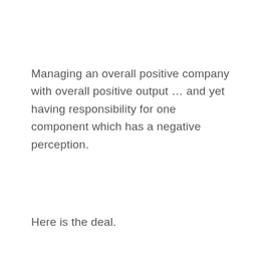Managing an overall positive company with overall positive output … and yet having responsibility for one component which has a negative perception.
Here is the deal.